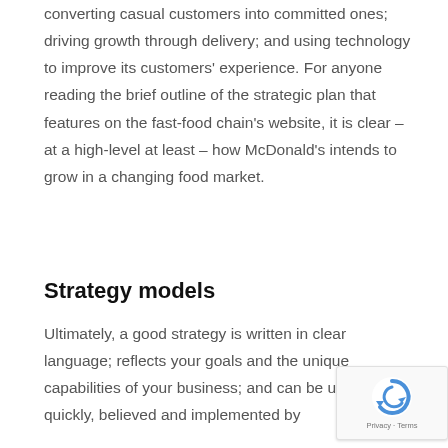converting casual customers into committed ones; driving growth through delivery; and using technology to improve its customers' experience. For anyone reading the brief outline of the strategic plan that features on the fast-food chain's website, it is clear – at a high-level at least – how McDonald's intends to grow in a changing food market.
Strategy models
Ultimately, a good strategy is written in clear language; reflects your goals and the unique capabilities of your business; and can be understood quickly, believed and implemented by